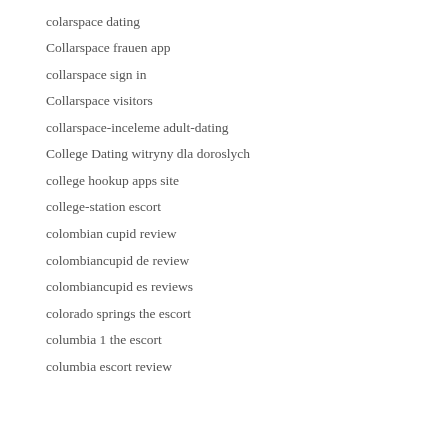colarspace dating
Collarspace frauen app
collarspace sign in
Collarspace visitors
collarspace-inceleme adult-dating
College Dating witryny dla doroslych
college hookup apps site
college-station escort
colombian cupid review
colombiancupid de review
colombiancupid es reviews
colorado springs the escort
columbia 1 the escort
columbia escort review